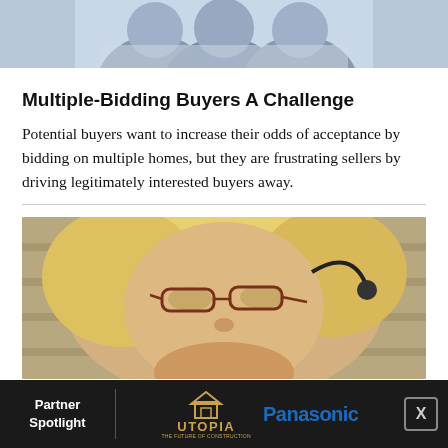[Figure (photo): Top portion of people in business/casual attire, cropped at torso/shoulder level]
Multiple-Bidding Buyers A Challenge
Potential buyers want to increase their odds of acceptance by bidding on multiple homes, but they are frustrating sellers by driving legitimately interested buyers away.
[Figure (photo): Close-up photo of a blonde woman wearing glasses and a headset/earpiece, looking slightly to the side]
[Figure (other): Partner Spotlight advertisement banner featuring Utopia (The Future of Construction) and Panasonic logos on dark background with close button]